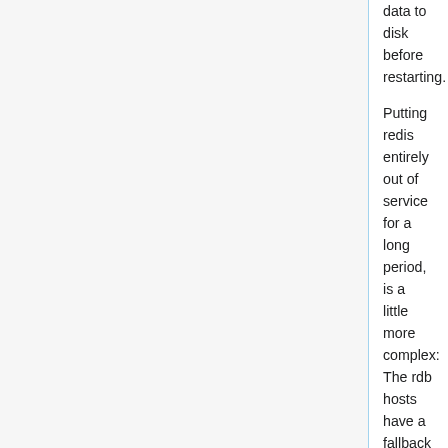data to disk before restarting.
Putting redis entirely out of service for a long period, is a little more complex: The rdb hosts have a fallback slave (using the subsequent number), e.g. rdb1001 has rdb1002 as it's fallback. The fallback hosts can be rebooted without impact. For the time being (Jul 2019), Redis is used by changeprop and docker registry. It is safe to reboot reb* servers at any time. Do give a shout to service owners
relforge
The relforge* cluster is very similar to the elastic* search clusters, but only consists of two hosts, so rebooting/restarting the master causes a service interruption (the service is only used internally), so #wikimedia-discovery should be notified. For the restart of a relforge application...